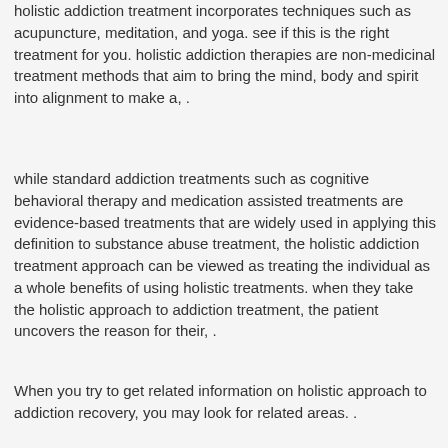holistic addiction treatment incorporates techniques such as acupuncture, meditation, and yoga. see if this is the right treatment for you. holistic addiction therapies are non-medicinal treatment methods that aim to bring the mind, body and spirit into alignment to make a, .
while standard addiction treatments such as cognitive behavioral therapy and medication assisted treatments are evidence-based treatments that are widely used in applying this definition to substance abuse treatment, the holistic addiction treatment approach can be viewed as treating the individual as a whole benefits of using holistic treatments. when they take the holistic approach to addiction treatment, the patient uncovers the reason for their, .
When you try to get related information on holistic approach to addiction recovery, you may look for related areas. .